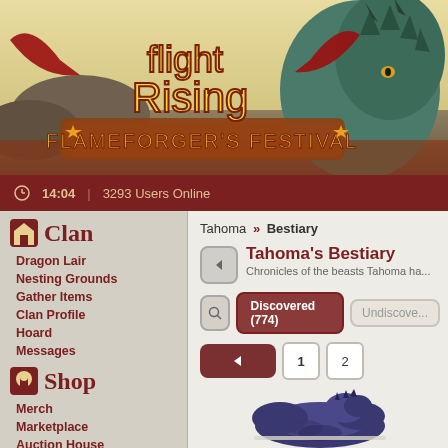[Figure (illustration): Flight Rising game banner with Flameforger's Festival logo, showing a dragon and fantasy landscape background]
14:04  |  3293 Users Online
Clan
Dragon Lair
Nesting Grounds
Gather Items
Clan Profile
Hoard
Messages
Shop
Merch
Marketplace
Auction House
Trading Post
Crossroads
Custom Skins
Tahoma » Bestiary
Tahoma's Bestiary
Chronicles of the beasts Tahoma has encountered.
Discovered (774)
Undiscovered
1
2
[Figure (illustration): A dark blue/purple dragon creature curled up, shown partially at the bottom of the page]